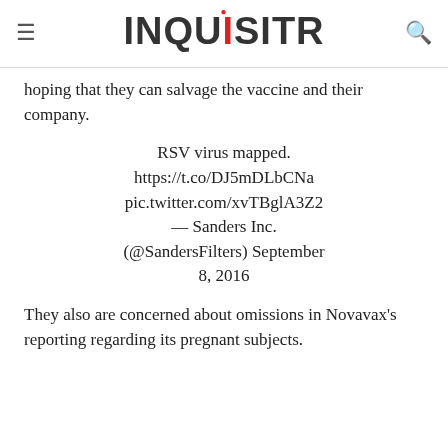INQUISITR
hoping that they can salvage the vaccine and their company.
RSV virus mapped. https://t.co/DJ5mDLbCNa pic.twitter.com/xvTBglA3Z2 — Sanders Inc. (@SandersFilters) September 8, 2016
They also are concerned about omissions in Novavax's reporting regarding its pregnant subjects.